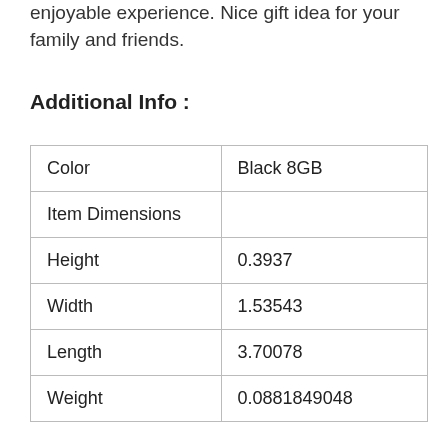enjoyable experience. Nice gift idea for your family and friends.
Additional Info :
| Color | Black 8GB |
| Item Dimensions |  |
| Height | 0.3937 |
| Width | 1.53543 |
| Length | 3.70078 |
| Weight | 0.0881849048 |